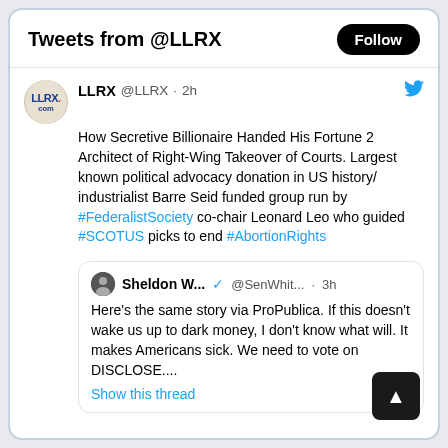Tweets from @LLRX
LLRX @LLRX · 2h
How Secretive Billionaire Handed His Fortune 2 Architect of Right-Wing Takeover of Courts. Largest known political advocacy donation in US history/ industrialist Barre Seid funded group run by #FederalistSociety co-chair Leonard Leo who guided #SCOTUS picks to end #AbortionRights
Sheldon W... @SenWhit... · 3h
Here's the same story via ProPublica. If this doesn't wake us up to dark money, I don't know what will. It makes Americans sick. We need to vote on DISCLOSE....
Show this thread